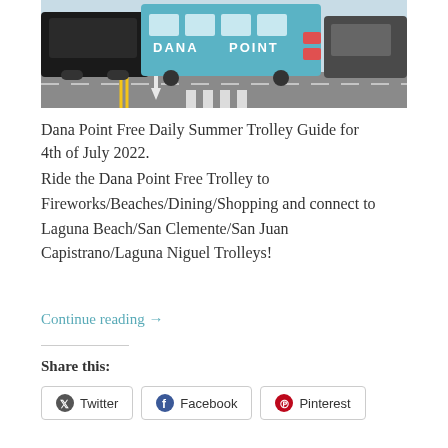[Figure (photo): A blue Dana Point trolley/bus on a street at an intersection, with a dark SUV on the left and another vehicle on the right. The bus has 'DANA POINT' text on its side in white letters.]
Dana Point Free Daily Summer Trolley Guide for 4th of July 2022.
Ride the Dana Point Free Trolley to Fireworks/Beaches/Dining/Shopping and connect to Laguna Beach/San Clemente/San Juan Capistrano/Laguna Niguel Trolleys!
Continue reading →
Share this:
Twitter   Facebook   Pinterest